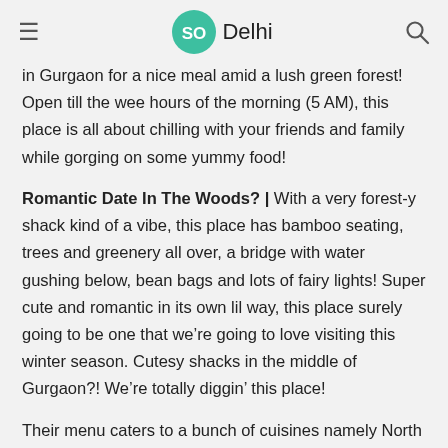SO Delhi
in Gurgaon for a nice meal amid a lush green forest! Open till the wee hours of the morning (5 AM), this place is all about chilling with your friends and family while gorging on some yummy food!
Romantic Date In The Woods? | With a very forest-y shack kind of a vibe, this place has bamboo seating, trees and greenery all over, a bridge with water gushing below, bean bags and lots of fairy lights! Super cute and romantic in its own lil way, this place surely going to be one that we’re going to love visiting this winter season. Cutesy shacks in the middle of Gurgaon?! We’re totally diggin’ this place!
Their menu caters to a bunch of cuisines namely North Indian, Chinese and Continental! Nice! And you know what the best bit is?